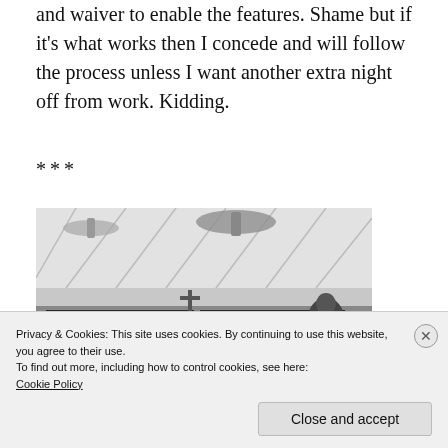and waiver to enable the features. Shame but if it's what works then I concede and will follow the process unless I want another extra night off from work. Kidding.
***
[Figure (photo): Black and white photograph of the interior of a room or hall, showing a ceiling with fans and what appears to be a blackboard or screen at the front, with a cross visible above it.]
Privacy & Cookies: This site uses cookies. By continuing to use this website, you agree to their use.
To find out more, including how to control cookies, see here:
Cookie Policy
Close and accept